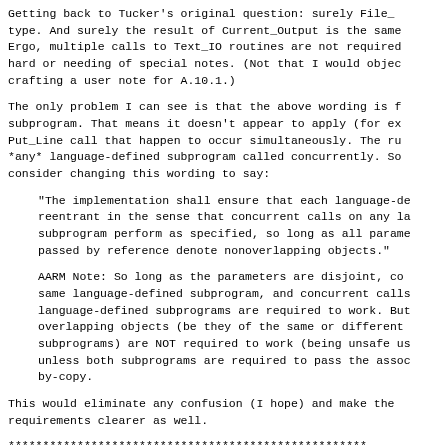Getting back to Tucker's original question: surely File_
type. And surely the result of Current_Output is the same
Ergo, multiple calls to Text_IO routines are not required
hard or needing of special notes. (Not that I would objec
crafting a user note for A.10.1.)
The only problem I can see is that the above wording is f
subprogram. That means it doesn't appear to apply (for ex
Put_Line call that happen to occur simultaneously. The ru
*any* language-defined subprogram called concurrently. So
consider changing this wording to say:
"The implementation shall ensure that each language-de
reentrant in the sense that concurrent calls on any la
subprogram perform as specified, so long as all parame
passed by reference denote nonoverlapping objects."
AARM Note: So long as the parameters are disjoint, co
same language-defined subprogram, and concurrent calls
language-defined subprograms are required to work. But
overlapping objects (be they of the same or different
subprograms) are NOT required to work (being unsafe us
unless both subprograms are required to pass the assoc
by-copy.
This would eliminate any confusion (I hope) and make the
requirements clearer as well.
****************************************************